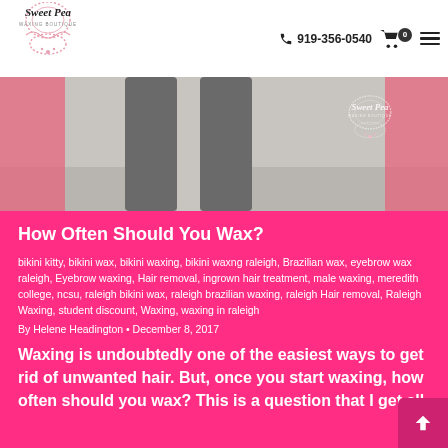Sweet Pea Waxing Boutique — 919-356-0540
[Figure (photo): Photo of person's legs in gray pants/leggings against a light background, with Sweet Pea Waxing Boutique logo watermark on the right side]
How Often Should You Wax?
bikini kitty, bikini wax, bikini waxing, bikini waxng raleigh, Brazilian wax, eyebrow wax raleigh, Eyebrow waxing, Hair removal, ingrown hair treatment, male waxing, meredith college, ncsu, raleigh bikini wax, raleigh brazilian waxing, raleigh Hair removal, Raleigh Waxing, student discount, Waxing, waxing in raleigh
By Helene Headington • December 8, 2017
Waxing is undoubtedly one of the easiest ways to get rid of unwanted hair. But, once you start waxing, how often should you wax? This is a question that I get all